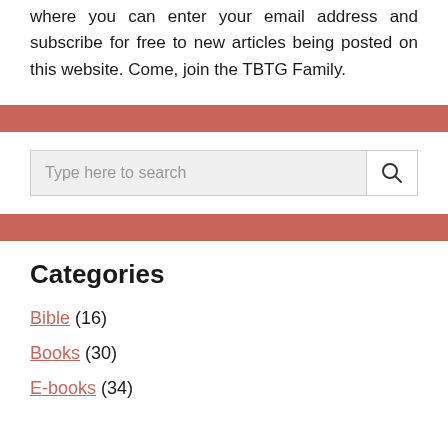where you can enter your email address and subscribe for free to new articles being posted on this website. Come, join the TBTG Family.
[Figure (other): Red horizontal decorative bar]
[Figure (other): Search box with text 'Type here to search' and a search icon button]
[Figure (other): Red horizontal decorative bar]
Categories
Bible (16)
Books (30)
E-books (34)